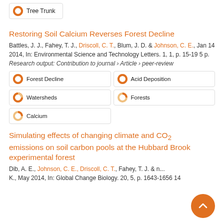Tree Trunk
Restoring Soil Calcium Reverses Forest Decline
Battles, J. J., Fahey, T. J., Driscoll, C. T., Blum, J. D. & Johnson, C. E., Jan 14 2014, In: Environmental Science and Technology Letters. 1, 1, p. 15-19 5 p.
Research output: Contribution to journal › Article › peer-review
Forest Decline
Acid Deposition
Watersheds
Forests
Calcium
Simulating effects of changing climate and CO2 emissions on soil carbon pools at the Hubbard Brook experimental forest
Dib, A. E., Johnson, C. E., Driscoll, C. T., Fahey, T. J. & ... K., May 2014, In: Global Change Biology. 20, 5, p. 1643-1656 14